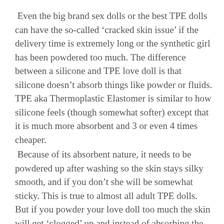Even the big brand sex dolls or the best TPE dolls can have the so-called ‘cracked skin issue’ if the delivery time is extremely long or the synthetic girl has been powdered too much. The difference between a silicone and TPE love doll is that silicone doesn’t absorb things like powder or fluids. TPE aka Thermoplastic Elastomer is similar to how silicone feels (though somewhat softer) except that it is much more absorbent and 3 or even 4 times cheaper.
Because of its absorbent nature, it needs to be powdered up after washing so the skin stays silky smooth, and if you don’t she will be somewhat sticky. This is true to almost all adult TPE dolls. But if you powder your love doll too much the skin will get ‘clogged’ up and instead of absorbing the